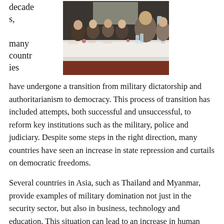decades, many countries
[Figure (photo): Photo of people seated at a long conference table draped with white cloth in a meeting room.]
have undergone a transition from military dictatorship and authoritarianism to democracy. This process of transition has included attempts, both successful and unsuccessful, to reform key institutions such as the military, police and judiciary. Despite some steps in the right direction, many countries have seen an increase in state repression and curtails on democratic freedoms.
Several countries in Asia, such as Thailand and Myanmar, provide examples of military domination not just in the security sector, but also in business, technology and education. This situation can lead to an increase in human rights violations by members of the security sector without adequate legal oversight or sanction.